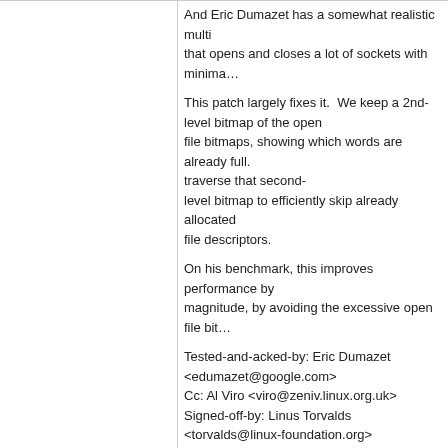And Eric Dumazet has a somewhat realistic multi- that opens and closes a lot of sockets with minima...
This patch largely fixes it.  We keep a 2nd-level bitmap of the open file bitmaps, showing which words are already full. traverse that second-level bitmap to efficiently skip already allocated file descriptors.
On his benchmark, this improves performance by magnitude, by avoiding the excessive open file bit...
Tested-and-acked-by: Eric Dumazet <edumazet@google.com>
Cc: Al Viro <viro@zeniv.linux.org.uk>
Signed-off-by: Linus Torvalds <torvalds@linux-foundation.org>
6 years ago    hwmon: (fam15h_power) Add max compute unit accumulated power
commit | commitdiff | tree    Huang Rui [Fri, 30 Oct 2015 09:56:57 +0000 (17:56 +0800)]
hwmon: (fam15h_power) Add max compute unit a...
This patch adds a member in fam15h_power_data maximum accumulated power in a compute unit.
Signed-off-by: Huang Rui